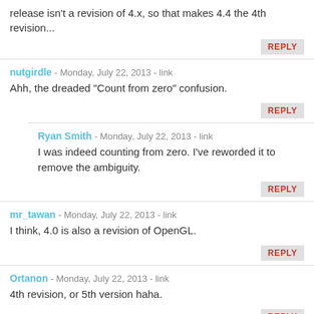release isn't a revision of 4.x, so that makes 4.4 the 4th revision...
REPLY
nutgirdle - Monday, July 22, 2013 - link
Ahh, the dreaded "Count from zero" confusion.
REPLY
Ryan Smith - Monday, July 22, 2013 - link
I was indeed counting from zero. I've reworded it to remove the ambiguity.
REPLY
mr_tawan - Monday, July 22, 2013 - link
I think, 4.0 is also a revision of OpenGL.
REPLY
Ortanon - Monday, July 22, 2013 - link
4th revision, or 5th version haha.
REPLY
lmcd - Monday, July 22, 2013 - link
Yes, you are correct.